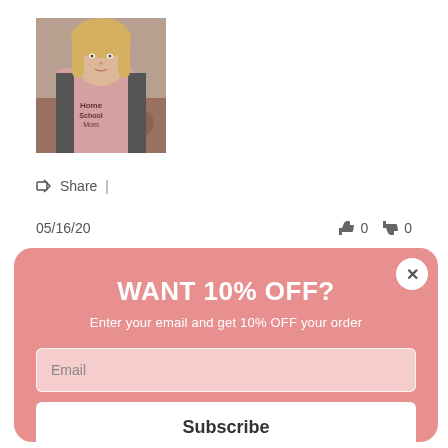[Figure (photo): A woman with blonde hair wearing a pink graphic t-shirt and dark cardigan, selfie-style photo]
Share |
05/16/20    👍 0    👎 0
[Figure (infographic): Modal popup with salmon/pink background. Title: WANT 10% OFF? Subtitle: Enter your email and get 10% OFF your order. Email input field. Subscribe button. No, thanks link. Close X button in top right corner.]